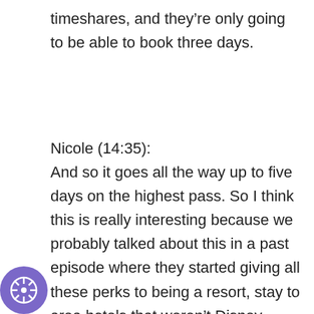timeshares, and they're only going to be able to book three days.
Nicole (14:35):
And so it goes all the way up to five days on the highest pass. So I think this is really interesting because we probably talked about this in a past episode where they started giving all these perks to being a resort, stay to area hotels that weren't Disney hotels, things like fastpasses being booked at 90 days out, which FastPasses, aren't a thing anymore. We did last week's